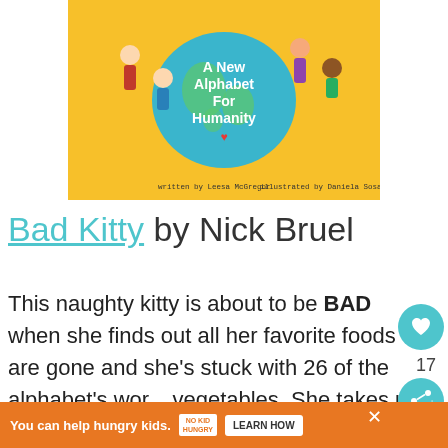[Figure (illustration): Book cover for 'A New Alphabet For Humanity' written by Leesa McGregor, illustrated by Daniela Sosa. Yellow background with diverse children surrounding a blue globe. Title text in white bold letters on the globe.]
Bad Kitty by Nick Bruel
This naughty kitty is about to be BAD when she finds out all her favorite foods are gone and she's stuck with 26 of the alphabet's worst vegetables. She takes us back and forth
17
You can help hungry kids.  NO KID HUNGRY  LEARN HOW